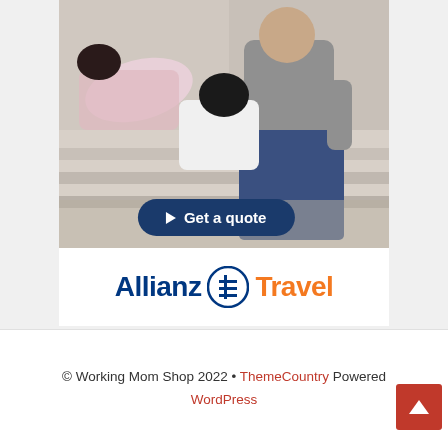[Figure (photo): Allianz Travel insurance advertisement banner showing a couple relaxing outdoors on stone steps, with a 'Get a quote' button and the Allianz Travel logo below the image.]
© Working Mom Shop 2022 • ThemeCountry Powered WordPress